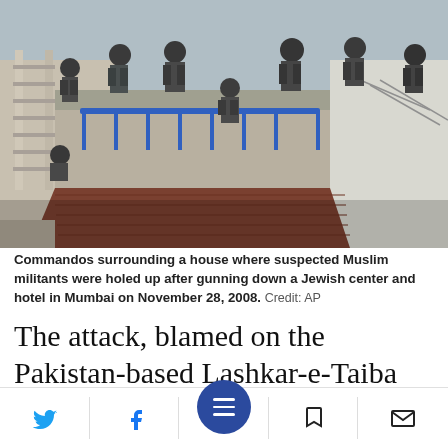[Figure (photo): Commandos in tactical gear surrounding a building rooftop in Mumbai, November 28, 2008. Multiple armed personnel visible on the roof of a multi-story building with a metal ladder visible on the left side.]
Commandos surrounding a house where suspected Muslim militants were holed up after gunning down a Jewish center and hotel in Mumbai on November 28, 2008.  Credit: AP
The attack, blamed on the Pakistan-based Lashkar-e-Taiba group, killed 166 people,